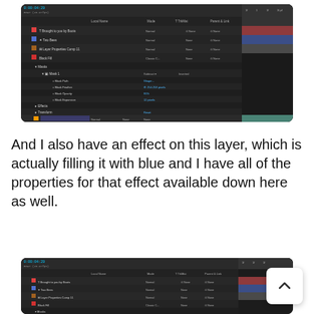[Figure (screenshot): Adobe After Effects timeline panel showing layers including 'Brought to you by Boots', 'Two Bees', 'Layer Properties Comp 11', 'Black Fill', and mask properties expanded with options like Mask Path, Mask Feather, Mask Opacity, Mask Expansion. Also shows Effects and Transform sections. A colorful layer timeline is visible on the right.]
And I also have an effect on this layer, which is actually filling it with blue and I have all of the properties for that effect available down here as well.
[Figure (screenshot): Adobe After Effects timeline panel showing layers including 'Brought to you by Boots', 'Two Bees', 'Layer Properties Comp 11', 'Black Fill' with Masks section visible. A scroll-to-top button overlay is shown in the bottom right corner.]